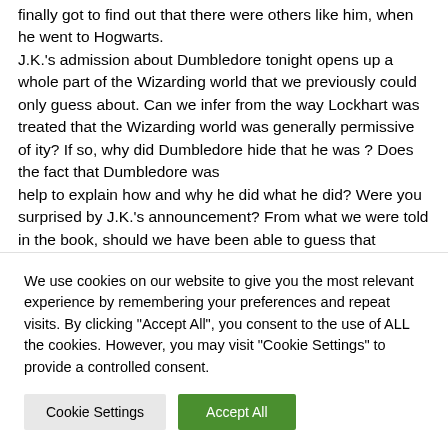finally got to find out that there were others like him, when he went to Hogwarts. J.K.'s admission about Dumbledore tonight opens up a whole part of the Wizarding world that we previously could only guess about. Can we infer from the way Lockhart was treated that the Wizarding world was generally permissive of ity? If so, why did Dumbledore hide that he was ? Does the fact that Dumbledore was help to explain how and why he did what he did? Were you surprised by J.K.'s announcement? From what we were told in the book, should we have been able to guess that Dumbledore
We use cookies on our website to give you the most relevant experience by remembering your preferences and repeat visits. By clicking "Accept All", you consent to the use of ALL the cookies. However, you may visit "Cookie Settings" to provide a controlled consent.